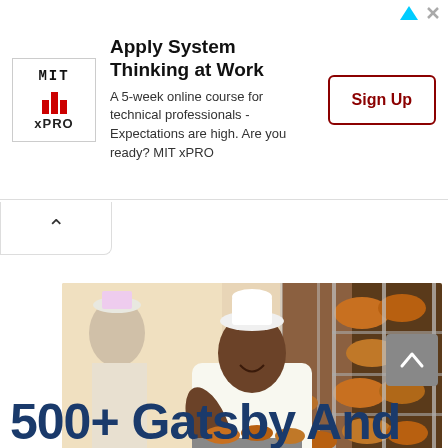[Figure (infographic): MIT xPRO advertisement banner with logo, headline 'Apply System Thinking at Work', description text, and Sign Up button]
[Figure (photo): Bakery scene with a smiling Black baker in white uniform and chef hat loading bread onto metal racks in a bakery]
500+ Gatsby And